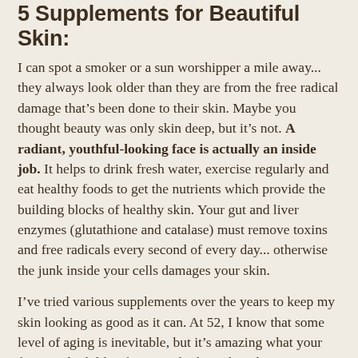5 Supplements for Beautiful Skin:
I can spot a smoker or a sun worshipper a mile away... they always look older than they are from the free radical damage that’s been done to their skin. Maybe you thought beauty was only skin deep, but it’s not. A radiant, youthful-looking face is actually an inside job. It helps to drink fresh water, exercise regularly and eat healthy foods to get the nutrients which provide the building blocks of healthy skin. Your gut and liver enzymes (glutathione and catalase) must remove toxins and free radicals every second of every day... otherwise the junk inside your cells damages your skin.
I’ve tried various supplements over the years to keep my skin looking as good as it can. At 52, I know that some level of aging is inevitable, but it’s amazing what your face can look like if you use high-quality skin care products and neutralize free radicals before they age you!